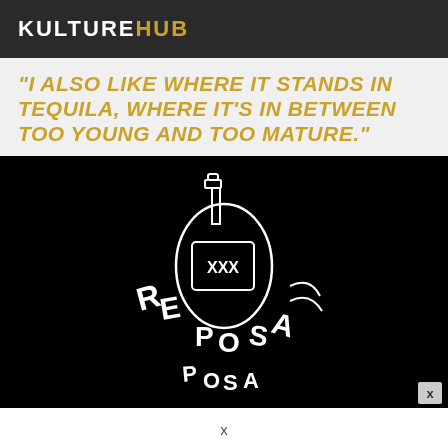KULTUREHUB
"I ALSO LIKE WHERE IT STANDS IN TEQUILA, WHERE IT'S IN BETWEEN TOO YOUNG AND TOO MATURE."
[Figure (illustration): Black background with a hand-drawn white illustration of a tequila/liquor bottle with XXX label and stylized text around it reading 'REPOSA']
x